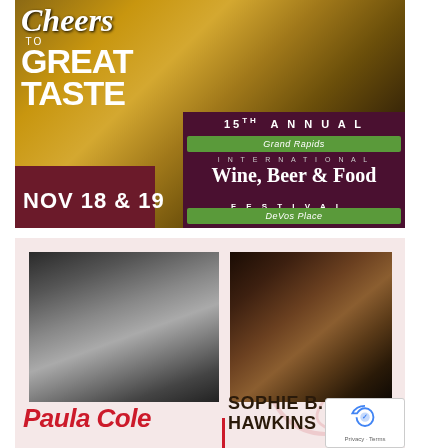[Figure (illustration): Cheers to Great Taste — 15th Annual Grand Rapids International Wine, Beer & Food Festival. NOV 18 & 19. DeVos Place. Promotional poster with beer mugs photo background and maroon/green branding.]
[Figure (illustration): Concert promotional image featuring Paula Cole (black and white photo) and Sophie B. Hawkins (warm-toned photo) side by side on pink background.]